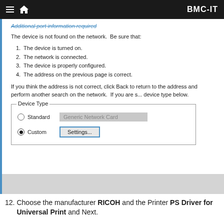BMC-IT
[Figure (screenshot): Windows dialog showing 'Additional port information required' with message 'The device is not found on the network. Be sure that:' followed by a numbered list and a Device Type section with Standard and Custom radio buttons, a Generic Network Card dropdown, and a Settings... button.]
The device is not found on the network.  Be sure that:
1.  The device is turned on.
2.  The network is connected.
3.  The device is properly configured.
4.  The address on the previous page is correct.
If you think the address is not correct, click Back to return to the address and perform another search on the network.  If you are s... device type below.
12.  Choose the manufacturer RICOH and the Printer PS Driver for Universal Print and Next.